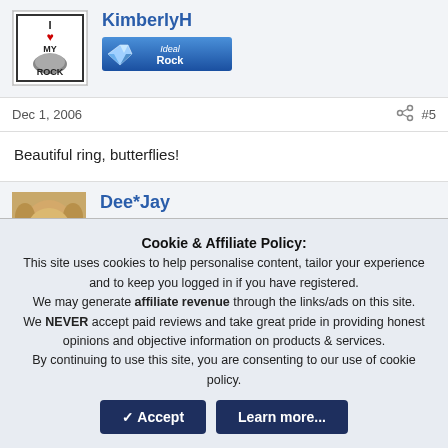[Figure (illustration): Avatar with 'I Love My Rock' badge - shows a rock with a heart]
KimberlyH
[Figure (logo): Ideal Rock badge - blue banner with diamond icon]
Dec 1, 2006
#5
Beautiful ring, butterflies!
[Figure (photo): Avatar showing a golden retriever dog]
Dee*Jay
[Figure (logo): Super Ideal Rock badge - blue banner with diamond icon]
Cookie & Affiliate Policy:
This site uses cookies to help personalise content, tailor your experience and to keep you logged in if you have registered.
We may generate affiliate revenue through the links/ads on this site.
We NEVER accept paid reviews and take great pride in providing honest opinions and objective information on products & services.
By continuing to use this site, you are consenting to our use of cookie policy.
Accept
Learn more...